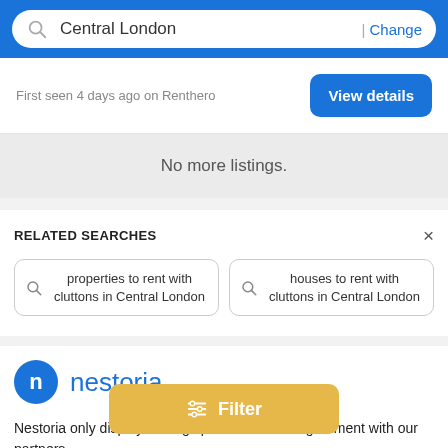Central London | Change
First seen 4 days ago on Renthero
View details
No more listings.
RELATED SEARCHES
properties to rent with cluttons in Central London
houses to rent with cluttons in Central London
[Figure (logo): Nestoria logo — blue circle with letter n and the word nestoria in blue]
Nestoria only displays listings provided under agreement with our partners.
Filter